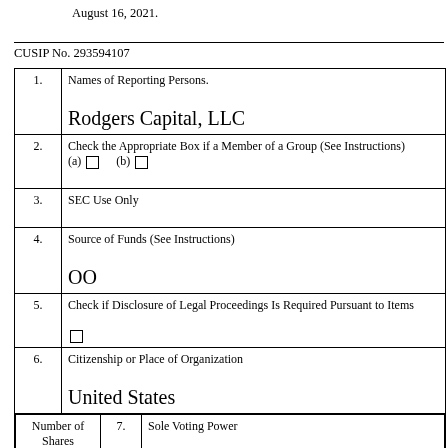August 16, 2021.
CUSIP No. 293594107
| # | Field | Value |
| --- | --- | --- |
| 1. | Names of Reporting Persons. | Rodgers Capital, LLC |
| 2. | Check the Appropriate Box if a Member of a Group (See Instructions) (a) □  (b) □ |  |
| 3. | SEC Use Only |  |
| 4. | Source of Funds (See Instructions) | OO |
| 5. | Check if Disclosure of Legal Proceedings Is Required Pursuant to Items | □ |
| 6. | Citizenship or Place of Organization | United States |
| Number of Shares Beneficially | 7. Sole Voting Power | 115,000 |
| Number of Shares Beneficially | 8. Shared Voting Power |  |